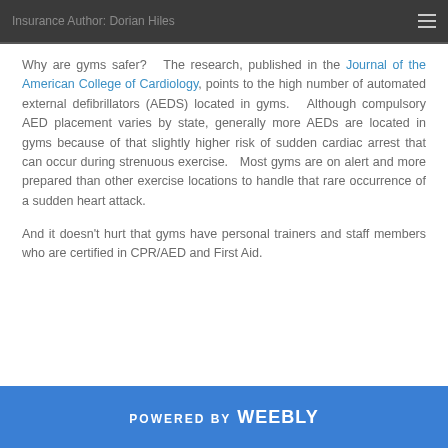Insurance Author: Dorian Hiles
Why are gyms safer? The research, published in the Journal of the American College of Cardiology, points to the high number of automated external defibrillators (AEDS) located in gyms. Although compulsory AED placement varies by state, generally more AEDs are located in gyms because of that slightly higher risk of sudden cardiac arrest that can occur during strenuous exercise. Most gyms are on alert and more prepared than other exercise locations to handle that rare occurrence of a sudden heart attack.
And it doesn't hurt that gyms have personal trainers and staff members who are certified in CPR/AED and First Aid.
POWERED BY weebly